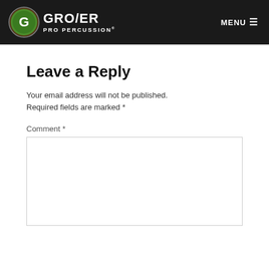[Figure (logo): Grover Pro Percussion logo with green G icon and white text on dark header bar, with MENU hamburger button on the right]
Leave a Reply
Your email address will not be published. Required fields are marked *
Comment *